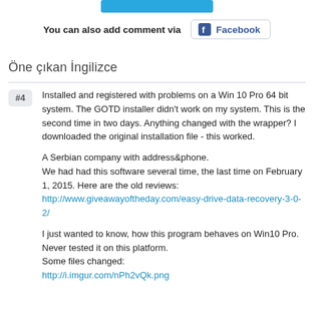You can also add comment via Facebook
Öne çıkan İngilizce
Installed and registered with problems on a Win 10 Pro 64 bit system. The GOTD installer didn't work on my system. This is the second time in two days. Anything changed with the wrapper? I downloaded the original installation file - this worked.

A Serbian company with address&phone.
We had had this software several time, the last time on February 1, 2015. Here are the old reviews:
http://www.giveawayoftheday.com/easy-drive-data-recovery-3-0-2/

I just wanted to know, how this program behaves on Win10 Pro. Never tested it on this platform.
Some files changed:
http://i.imgur.com/nPh2vQk.png